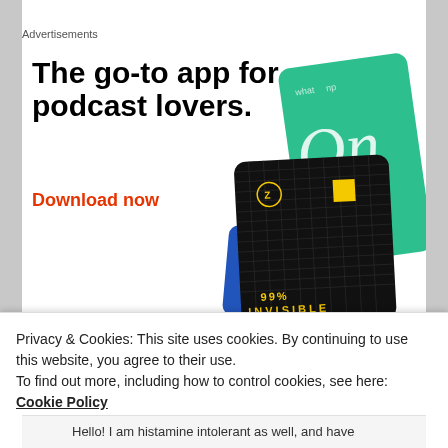Advertisements
[Figure (illustration): Advertisement for a podcast app showing the headline 'The go-to app for podcast lovers.' with a 'Download now' call to action in orange-red, alongside illustrated podcast app cards including one for '99% Invisible' podcast.]
Privacy & Cookies: This site uses cookies. By continuing to use this website, you agree to their use.
To find out more, including how to control cookies, see here: Cookie Policy
Close and accept
Hello! I am histamine intolerant as well, and have